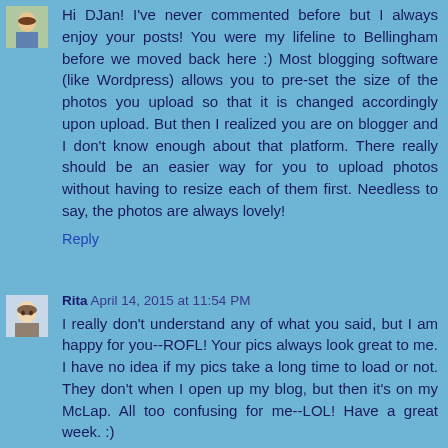Hi DJan! I've never commented before but I always enjoy your posts! You were my lifeline to Bellingham before we moved back here :) Most blogging software (like Wordpress) allows you to pre-set the size of the photos you upload so that it is changed accordingly upon upload. But then I realized you are on blogger and I don't know enough about that platform. There really should be an easier way for you to upload photos without having to resize each of them first. Needless to say, the photos are always lovely!
Reply
Rita  April 14, 2015 at 11:54 PM
I really don't understand any of what you said, but I am happy for you--ROFL! Your pics always look great to me. I have no idea if my pics take a long time to load or not. They don't when I open up my blog, but then it's on my McLap. All too confusing for me--LOL! Have a great week. :)
Reply